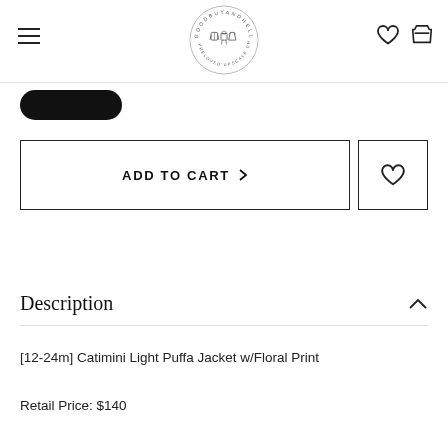GOODBUYANDHELLO logo with hamburger menu and cart/wishlist icons
[Figure (logo): Goodbuyandhello circular logo with children's clothing illustrations]
ADD TO CART
Description
[12-24m] Catimini Light Puffa Jacket w/Floral Print
Retail Price: $140